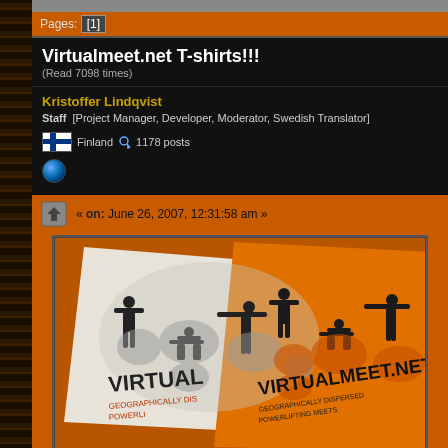Pages: [1]
Virtualmeet.net T-shirts!!!
(Read 7098 times)
Kristoffer Lindqvist
Staff [Project Manager, Developer, Moderator, Swedish Translator]
Finland ♂ 1178 posts
« on: June 26, 2007, 12:31:58 am »
[Figure (photo): Two Virtualmeet.net t-shirts, one white and one orange, with powerlifting silhouettes and world map design, text reads VIRTUALMEET.NET GEOGRAPHICALLY DISPERSED POWERLIFTING MEETS]